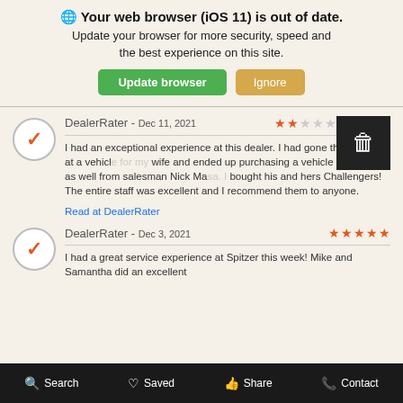🌐 Your web browser (iOS 11) is out of date. Update your browser for more security, speed and the best experience on this site.
Update browser | Ignore
DealerRater - Dec 11, 2021 ★★☆☆☆
I had an exceptional experience at this dealer. I had gone there to look at a vehicle for my wife and ended up purchasing a vehicle for myself as well from salesman Nick Masa. I bought his and hers Challengers! The entire staff was excellent and I recommend them to anyone.
Read at DealerRater
DealerRater - Dec 3, 2021 ★★★★★
I had a great service experience at Spitzer this week! Mike and Samantha did an excellent
Search | Saved | Share | Contact